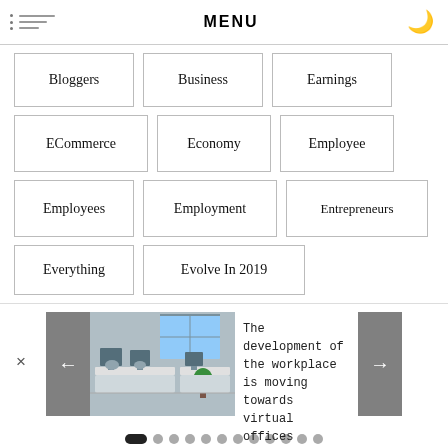MENU
Bloggers
Business
Earnings
ECommerce
Economy
Employee
Employees
Employment
Entrepreneurs
Everything
Evolve In 2019
[Figure (photo): Office workspace with desks and computers]
The development of the workplace is moving towards virtual offices
Carousel navigation dots, first dot active